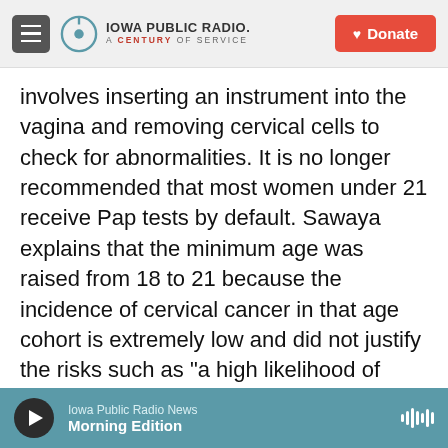Iowa Public Radio. A Century of Service. Donate.
involves inserting an instrument into the vagina and removing cervical cells to check for abnormalities. It is no longer recommended that most women under 21 receive Pap tests by default. Sawaya explains that the minimum age was raised from 18 to 21 because the incidence of cervical cancer in that age cohort is extremely low and did not justify the risks such as "a high likelihood of false alarms."
In a bimanual pelvic exam, the physician places several fingers of one hand inside the patient's vagina, and the other hand on the patient's abdomen. The pelvic exam was traditionally used
Iowa Public Radio News — Morning Edition